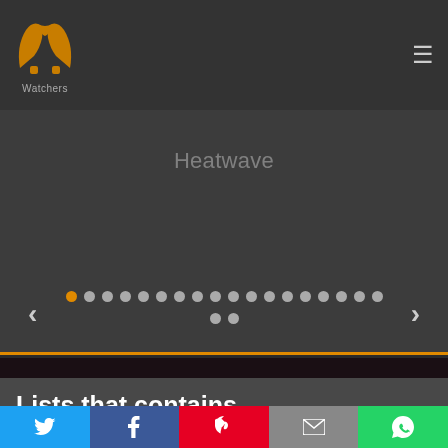PP Watchers — navigation bar with logo and hamburger menu
[Figure (screenshot): Slider carousel panel showing title 'Heatwave' with navigation dots (first dot active/orange) and left/right arrow controls]
Lists that contains
[Figure (infographic): Social sharing bar with Twitter, Facebook, Pinterest, Email, and WhatsApp buttons]